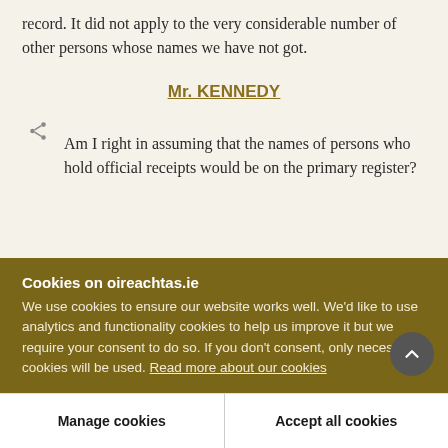record. It did not apply to the very considerable number of other persons whose names we have not got.
Mr. KENNEDY
Am I right in assuming that the names of persons who hold official receipts would be on the primary register?
Cookies on oireachtas.ie
We use cookies to ensure our website works well. We'd like to use analytics and functionality cookies to help us improve it but we require your consent to do so. If you don't consent, only necessary cookies will be used. Read more about our cookies
Manage cookies
Accept all cookies